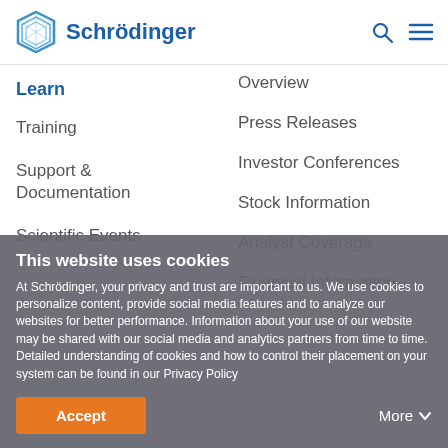Schrödinger
Overview
Learn
Training
Support & Documentation
Scientific Events
Press Releases
Investor Conferences
Stock Information
Analyst Coverage
Financial Information
This website uses cookies
At Schrödinger, your privacy and trust are important to us. We use cookies to personalize content, provide social media features and to analyze our websites for better performance. Information about your use of our website may be shared with our social media and analytics partners from time to time. Detailed understanding of cookies and how to control their placement on your system can be found in our Privacy Policy
Accept
More